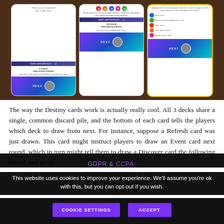[Figure (photo): Photo of three board game Destiny cards laid out on a wooden table. Each card has colored icons at top, a Ship Advantage section, winner/loser prize text, and a 'NEXT' button at the bottom with a holographic border.]
The way the Destiny cards work is actually really cool. All 3 decks share a single, common discard pile, and the bottom of each card tells the players which deck to draw from next. For instance, suppose a Refresh card was just drawn. This card might instruct players to draw an Event card next round, which in turn might tell them to draw a Discover card the following round, and so on.
GDPR & CCPA:
This website uses cookies to improve your experience. We'll assume you're ok with this, but you can opt-out if you wish.
COOKIE SETTINGS   ACCEPT